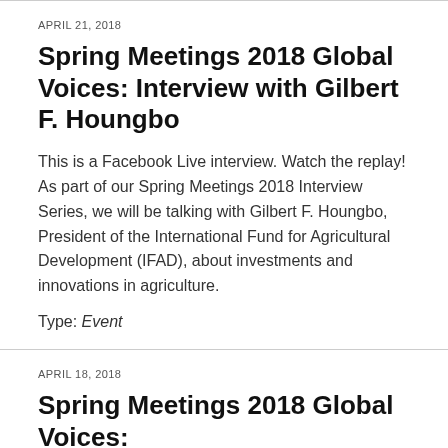APRIL 21, 2018
Spring Meetings 2018 Global Voices: Interview with Gilbert F. Houngbo
This is a Facebook Live interview. Watch the replay! As part of our Spring Meetings 2018 Interview Series, we will be talking with Gilbert F. Houngbo, President of the International Fund for Agricultural Development (IFAD), about investments and innovations in agriculture.
Type: Event
APRIL 18, 2018
Spring Meetings 2018 Global Voices: